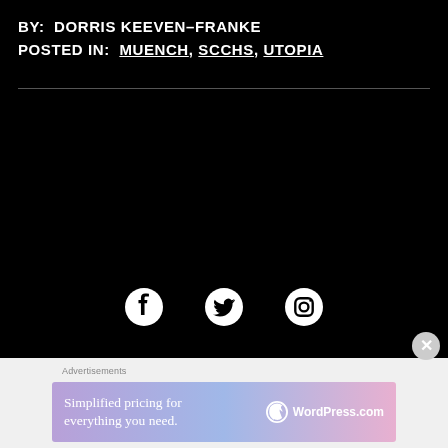BY: DORRIS KEEVEN-FRANKE
POSTED IN: MUENCH, SCCHS, UTOPIA
[Figure (infographic): Social media icons: Facebook, Twitter, Instagram on black background]
Advertisements
[Figure (screenshot): WordPress.com advertisement banner: 'Simplified pricing for everything you need.' with WordPress.com logo on gradient purple-blue-pink background]